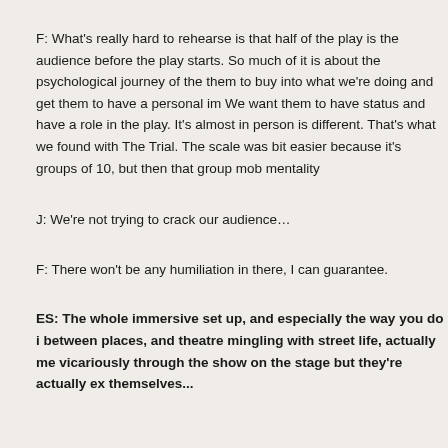F: What's really hard to rehearse is that half of the play is the audience before the play starts. So much of it is about the psychological journey of the audience - getting them to buy into what we're doing and get them to have a personal investment in it. We want them to have status and have a role in the play. It's almost impossible because every person is different. That's what we found with The Trial. The scale was huge so it was a bit easier because it's groups of 10, but then that group mob mentality...
J: We're not trying to crack our audience...
F: There won't be any humiliation in there, I can guarantee.
ES: The whole immersive set up, and especially the way you do it moving between places, and theatre mingling with street life, actually means not living vicariously through the show on the stage but they're actually experiencing it themselves...